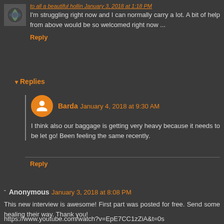I'm struggling right now and I can normally carry a lot. A bit of help from above would be so welcomed right now ...
Reply
Replies
Barda January 4, 2018 at 9:30 AM
I think also our baggage is getting very heavy because it needs to be let go! Been feeling the same recently.
Reply
Anonymous January 3, 2018 at 8:08 PM
This new interview is awesome! First part was posted for free. Send some healing their way. Thank you!
https://www.youtube.com/watch?v=EpE7CC1zZiA&t=0s